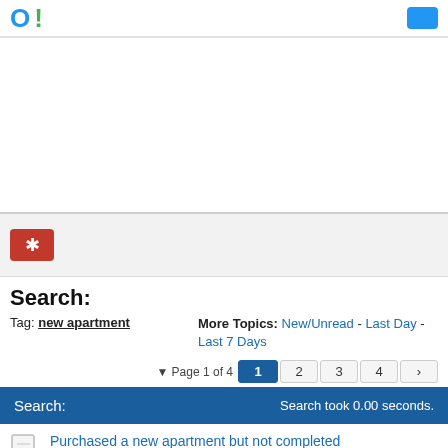Logo and navigation header
[Figure (other): Advertisement area (blank white space)]
[Figure (other): Bookmark/favorite button bar with red star icon]
Search:
Tag: new apartment    More Topics: New/Unread - Last Day - Last 7 Days
Page 1 of 4   1  2  3  4  >
| Search: | Search took 0.00 seconds. |
| --- | --- |
Purchased a new apartment but not completed